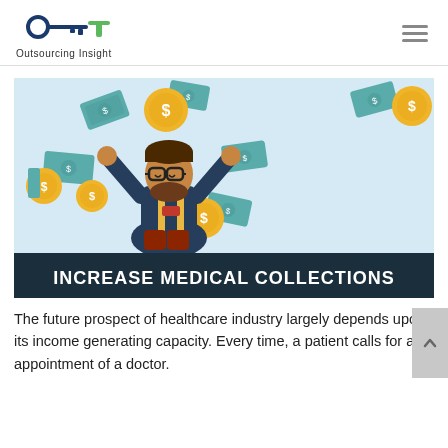Outsourcing Insight
[Figure (illustration): Illustration of a happy bearded man with glasses raising his fists, surrounded by flying dollar bills and gold coins with dollar signs, against a light blue background. Below the illustration is a dark navy banner with bold white uppercase text: INCREASE MEDICAL COLLECTIONS]
The future prospect of healthcare industry largely depends upon its income generating capacity. Every time, a patient calls for an appointment of a doctor.